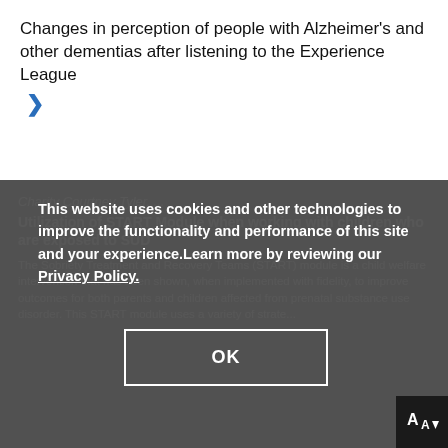Changes in perception of people with Alzheimer's and other dementias after listening to the Experience League
This website uses cookies and other technologies to improve the functionality and performance of this site and your experience.Learn more by reviewing our Privacy Policy.
Charity Courtney Tyler, ...
Utilization of START Module when working with children who are exposed to SUD
The Sobriety Treatment and Recovery Teams (START) module is a child welfare intervention that has been shown, when implemented with fidelity, to improve outcomes for both parents and children affected from prenatal substance use disorder. This START module uses a variety of strategies...
[Figure (other): OK button for cookie consent dialog]